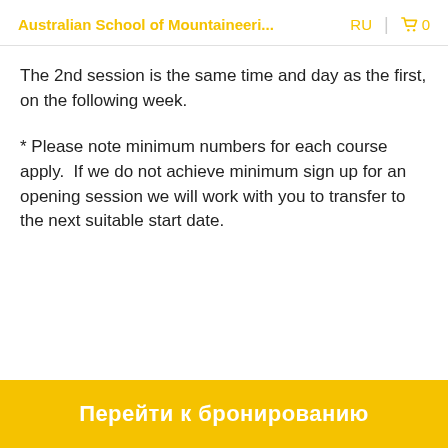Australian School of Mountaineeri...   RU   🛒 0
The 2nd session is the same time and day as the first, on the following week.
* Please note minimum numbers for each course apply.  If we do not achieve minimum sign up for an opening session we will work with you to transfer to the next suitable start date.
Перейти к бронированию